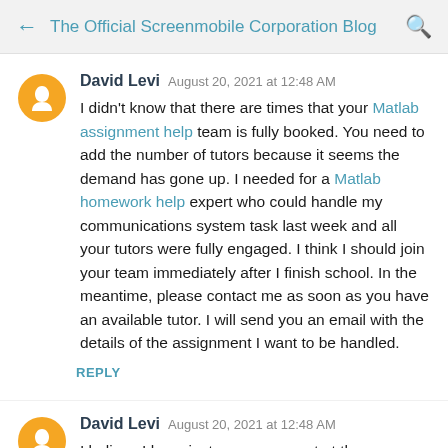← The Official Screenmobile Corporation Blog 🔍
David Levi  August 20, 2021 at 12:48 AM
I didn't know that there are times that your Matlab assignment help team is fully booked. You need to add the number of tutors because it seems the demand has gone up. I needed for a Matlab homework help expert who could handle my communications system task last week and all your tutors were fully engaged. I think I should join your team immediately after I finish school. In the meantime, please contact me as soon as you have an available tutor. I will send you an email with the details of the assignment I want to be handled.
REPLY
David Levi  August 20, 2021 at 12:48 AM
I believe I have just seen your post at the